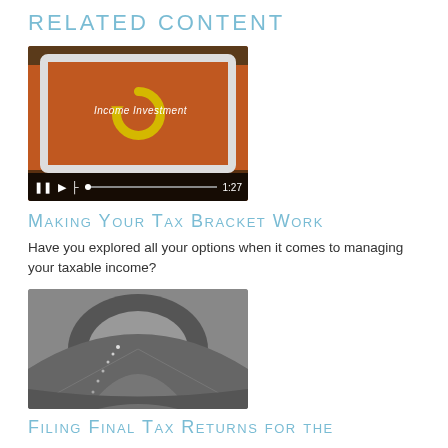Related Content
[Figure (screenshot): Video thumbnail showing a tablet displaying an orange screen with a circular arrow logo and 'Income Investment' text. Video controls bar at bottom showing pause, play, progress bar, and timestamp 1:27.]
Making Your Tax Bracket Work
Have you explored all your options when it comes to managing your taxable income?
[Figure (photo): Black and white photograph of a tunnel road perspective, with lights along the side of the tunnel ceiling.]
Filing Final Tax Returns for the